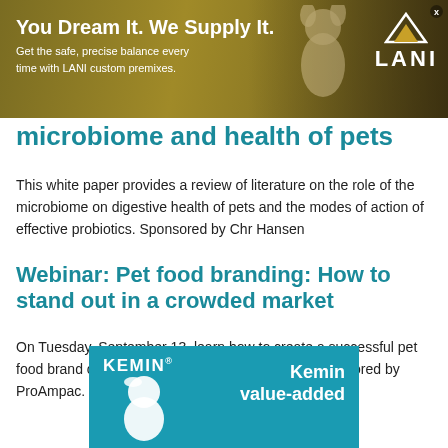[Figure (illustration): LANI advertisement banner with gold/dark background. Text: 'You Dream It. We Supply It. Get the safe, precise balance every time with LANI custom premixes.' LANI logo with mountain/triangle icon in upper right. White dog silhouette in background. Small X close button.]
microbiome and health of pets
This white paper provides a review of literature on the role of the microbiome on digestive health of pets and the modes of action of effective probiotics. Sponsored by Chr Hansen
Webinar: Pet food branding: How to stand out in a crowded market
On Tuesday, September 13, learn how to create a successful pet food brand campaign to increase market share. Sponsored by ProAmpac.
[Figure (illustration): Kemin advertisement banner with teal/blue background. KEMIN logo on left with a white bird figure. Text on right: 'Kemin value-added']